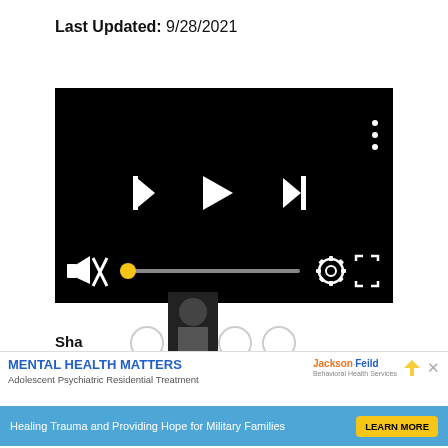Last Updated: 9/28/2021
[Figure (screenshot): Video player with black background showing media controls: skip back, play, skip forward buttons in center; muted icon, volume slider with yellow knob, settings gear, and fullscreen icon at bottom; three-dot menu top right.]
Sha
[Figure (infographic): Advertisement banner: MENTAL HEALTH MATTERS - Adolescent Psychiatric Residential Treatment - Jackson-Feild - Healing Trauma and Providing Hope for Military Families - LEARN MORE button]